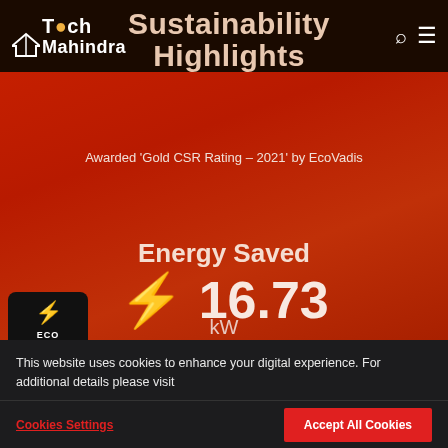Tech Mahindra | Sustainability Highlights
Sustainability Highlights
Awarded 'Gold CSR Rating – 2021' by EcoVadis
KNOW MORE
Energy Saved
⚡ 16.73 kW
[Figure (infographic): ECO ENGINE widget with lightning bolt icon]
We are one of the world's first website to run on Dark Mode by default.
This website uses cookies to enhance your digital experience. For additional details please visit Privacy Policy and Cookie Policy
Cookies Settings  Accept All Cookies